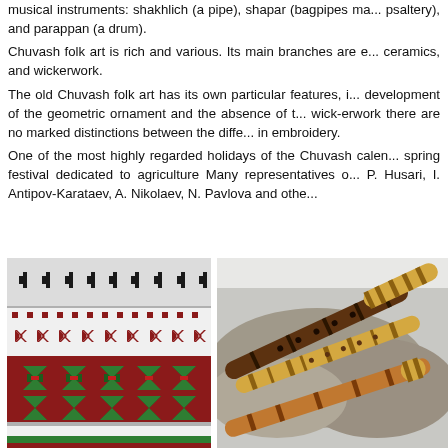musical instruments: shakhlich (a pipe), shapar (bagpipes ma... psaltery), and parappan (a drum). Chuvash folk art is rich and various. Its main branches are e... ceramics, and wickerwork. The old Chuvash folk art has its own particular features, i... development of the geometric ornament and the absence of t... wick-erwork there are no marked distinctions between the diffe... in embroidery. One of the most highly regarded holidays of the Chuvash calen... spring festival dedicated to agriculture Many representatives o... P. Husari, I. Antipov-Karataev, A. Nikolaev, N. Pavlova and othe...
[Figure (photo): Chuvash traditional embroidery textile with red, black, green and white geometric patterns]
[Figure (photo): Chuvash traditional musical instruments - wooden wind instruments (pipes/flutes) resting on a stone surface]